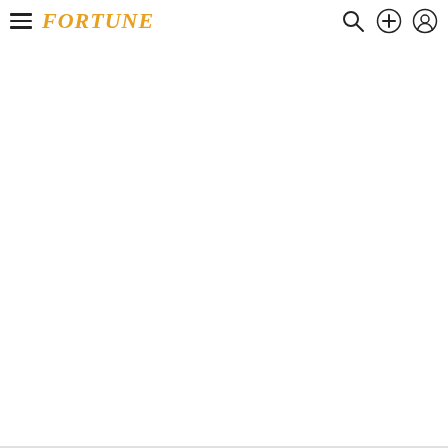FORTUNE — navigation bar with hamburger menu, Fortune logo, search, add, and account icons